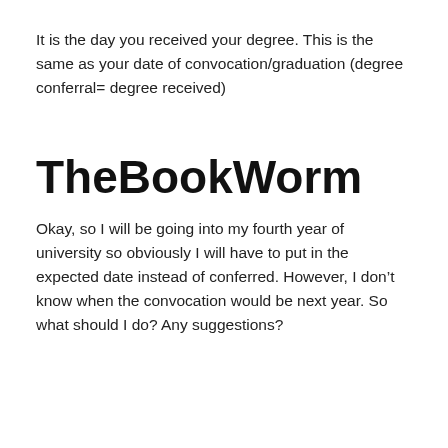It is the day you received your degree. This is the same as your date of convocation/graduation (degree conferral= degree received)
TheBookWorm
Okay, so I will be going into my fourth year of university so obviously I will have to put in the expected date instead of conferred. However, I don't know when the convocation would be next year. So what should I do? Any suggestions?